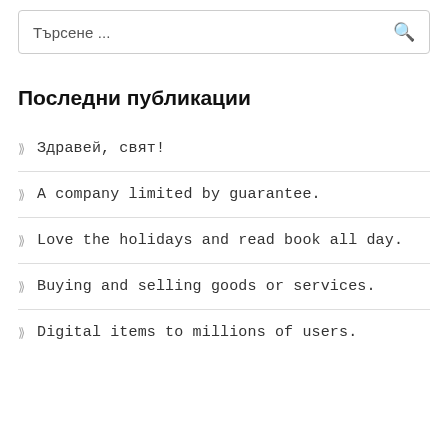Търсене ...
Последни публикации
Здравей, свят!
A company limited by guarantee.
Love the holidays and read book all day.
Buying and selling goods or services.
Digital items to millions of users.